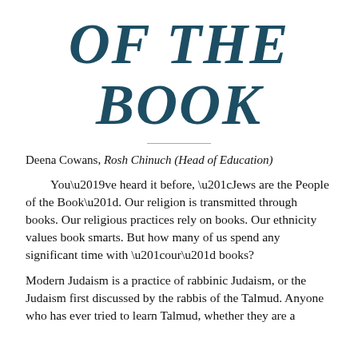OF THE BOOK
Deena Cowans, Rosh Chinuch (Head of Education)
You’ve heard it before, “Jews are the People of the Book”. Our religion is transmitted through books. Our religious practices rely on books. Our ethnicity values book smarts. But how many of us spend any significant time with “our” books?
Modern Judaism is a practice of rabbinic Judaism, or the Judaism first discussed by the rabbis of the Talmud. Anyone who has ever tried to learn Talmud, whether they are a